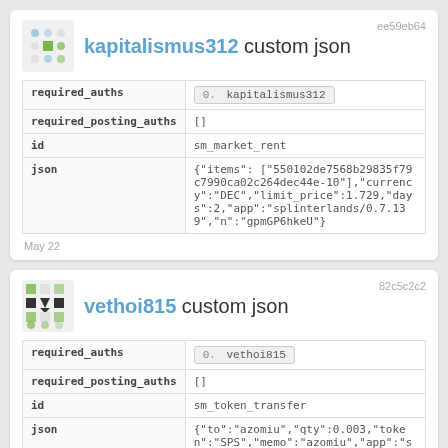| field | value |
| --- | --- |
| required_auths | 0. kapitalismus312 |
| required_posting_auths | [] |
| id | sm_market_rent |
| json | {"items": ["550102de7568b29835f79c7990ca02c264dec44e-10"],"currency":"DEC","limit_price":1.729,"days":2,"app":"splinterlands/0.7.139","n":"gpmGP6hkeU"} |
May 22
| field | value |
| --- | --- |
| required_auths | 0. vethoi815 |
| required_posting_auths | [] |
| id | sm_token_transfer |
| json | {"to":"azomiu","qty":0.003,"token":"SPS","memo":"azomiu","app":"splinterlands/0.7.220317"} |
May 22